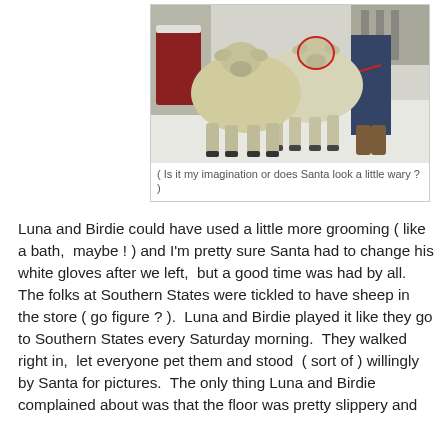[Figure (photo): Two fluffy sheep (Luna and Birdie) standing in a store in front of Santa Claus who is seated in a red suit. A person in jeans and boots holds one sheep on a red leash. The store floor is shiny white.]
( Is it my imagination or does Santa look a little wary ? )
Luna and Birdie could have used a little more grooming ( like a bath,  maybe ! ) and I'm pretty sure Santa had to change his white gloves after we left,  but a good time was had by all.  The folks at Southern States were tickled to have sheep in the store ( go figure ? ).  Luna and Birdie played it like they go to Southern States every Saturday morning.  They walked right in,  let everyone pet them and stood  ( sort of ) willingly by Santa for pictures.  The only thing Luna and Birdie complained about was that the floor was pretty slippery and